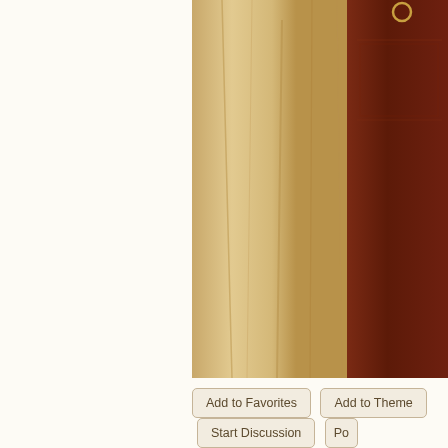[Figure (photo): Partial view of wooden panels or curtains in tan/beige tones on the left, and dark mahogany wooden furniture or door on the right, appearing to be interior of a historic building or synagogue.]
Add to Favorites   Add to Theme   Start Discussion   Po...
Photographer's Note
The building dates to the 15th century and was originally a Venetian Catholic ch... Katherine, located in the heart of the small, centuries-old Jewish neighbourhood... behind the harbour-front. The church was damaged in the 1540s during one of t... the city led by the Chief Admiral of the Ottoman fleet, Khair ad-Din Kapdian Pas... Barbarossa. In the mid to late 17th century, after the eventual Ottoman conques... was acquired by Hania’s Jewish community who then converted it into a synago... War, Kal kadosh Etz Hayyim, a Romaniote synagogue, together with Beth Shalo... Sephardic synagogue, served the needs of Hania’s Jewish community. Once th... 1944, Etz Hayyim was looted and desecrated and then occupied by squatters u... time until the mid-1990s, the derelict synagogue served as a repository of neig...